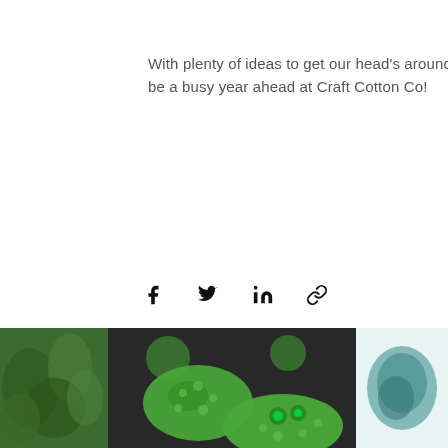With plenty of ideas to get our head's around it will be a busy year ahead at Craft Cotton Co!
[Figure (infographic): Social share icons: Facebook, Twitter, LinkedIn, link/chain icon]
[Figure (infographic): Heart (like) icon in red/pink outline]
Recent Posts
See All
[Figure (photo): Scroll-to-top button overlay (grey with white chevron up arrow)]
[Figure (photo): Three partially visible blog post thumbnail photos at bottom: left shows green foliage, center shows green textured frog/lizard craft figures on dark background, right shows a teal/green item partially visible]